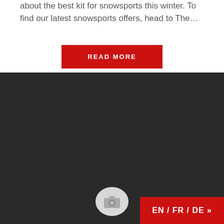about the best kit for snowsports this winter. To find our latest snowsports offers, head to The…
READ MORE
[Figure (screenshot): Dark background section with a camera icon placeholder at the bottom center and a red language selector button (EN / FR / DE ») at the bottom right]
EN / FR / DE »